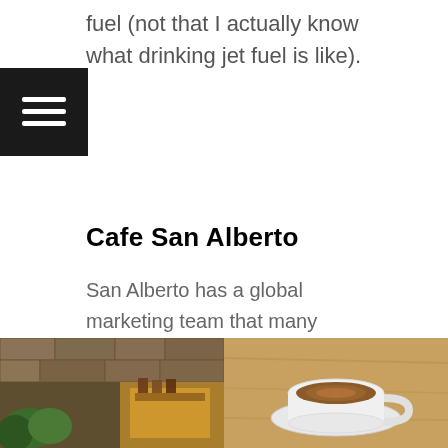fuel (not that I actually know what drinking jet fuel is like).
Cafe San Alberto
San Alberto has a global marketing team that many companies only dream of having. According to their campaign, San Alberto coffee wins so many awards that it's considered one of the best coffees in the world. Because of these awards, you are paying American prices for a small purple bag of beans.
Their reputation drew us to their Calle de Los Santos de Piedra location.
[Figure (photo): Left: interior of Cafe San Alberto showing stone walls and colorful decor. Right: a small white espresso cup with coffee on a wooden surface.]